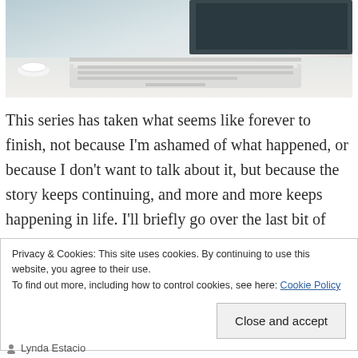[Figure (photo): A photo of a laptop on a desk with a cup, showing the keyboard and monitor in a bright, airy setting.]
This series has taken what seems like forever to finish, not because I'm ashamed of what happened, or because I don't want to talk about it, but because the story keeps continuing, and more and more keeps happening in life. I'll briefly go over the last bit of my
Privacy & Cookies: This site uses cookies. By continuing to use this website, you agree to their use.
To find out more, including how to control cookies, see here: Cookie Policy
Close and accept
Lynda Estacio